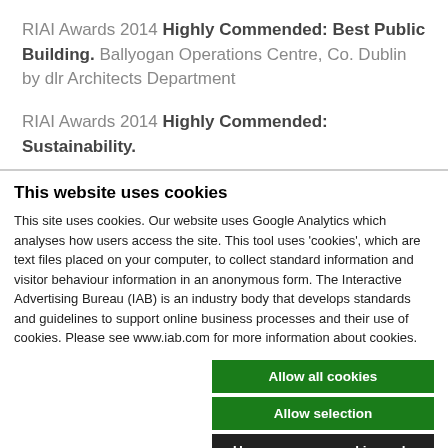RIAI Awards 2014 Highly Commended: Best Public Building. Ballyogan Operations Centre, Co. Dublin by dlr Architects Department
RIAI Awards 2014 Highly Commended: Sustainability.
This website uses cookies
This site uses cookies. Our website uses Google Analytics which analyses how users access the site. This tool uses 'cookies', which are text files placed on your computer, to collect standard information and visitor behaviour information in an anonymous form. The Interactive Advertising Bureau (IAB) is an industry body that develops standards and guidelines to support online business processes and their use of cookies. Please see www.iab.com for more information about cookies.
Allow all cookies
Allow selection
Use necessary cookies only
Necessary  Preferences  Statistics  Marketing  Show details